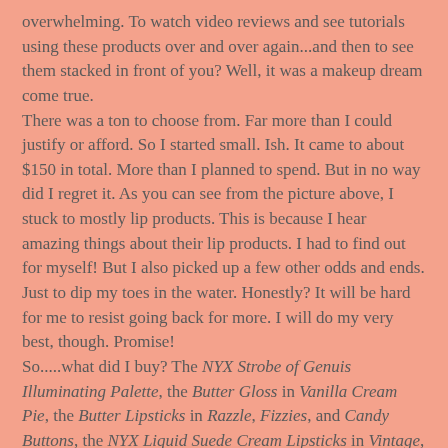overwhelming. To watch video reviews and see tutorials using these products over and over again...and then to see them stacked in front of you? Well, it was a makeup dream come true.
There was a ton to choose from. Far more than I could justify or afford. So I started small. Ish. It came to about $150 in total. More than I planned to spend. But in no way did I regret it. As you can see from the picture above, I stuck to mostly lip products. This is because I hear amazing things about their lip products. I had to find out for myself! But I also picked up a few other odds and ends. Just to dip my toes in the water. Honestly? It will be hard for me to resist going back for more. I will do my very best, though. Promise!
So.....what did I buy? The NYX Strobe of Genuis Illuminating Palette, the Butter Gloss in Vanilla Cream Pie, the Butter Lipsticks in Razzle, Fizzies, and Candy Buttons, the NYX Liquid Suede Cream Lipsticks in Vintage, Sway, and Stone Fox, the NYX High Definition Blush in Taupe, the Prismatic Shadow in Jaded, and the Vivid Brights Liquid Liner in Vivid Blossom. Phew! It was definitely an exciting buying